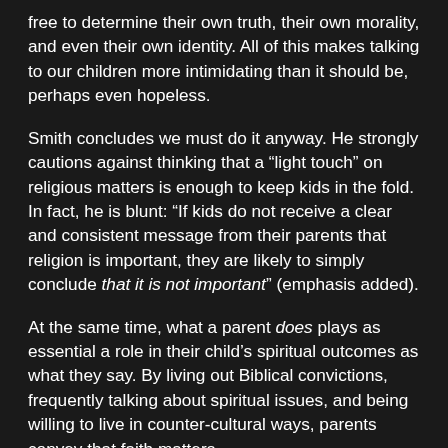free to determine their own truth, their own morality, and even their own identity. All of this makes talking to our children more intimidating than it should be, perhaps even hopeless.
Smith concludes we must do it anyway. He strongly cautions against thinking that a “light touch” on religious matters is enough to keep kids in the fold. In fact, he is blunt: “If kids do not receive a clear and consistent message from their parents that religion is important, they are likely to simply conclude that it is not important” (emphasis added).
At the same time, what a parent does plays as essential a role in their child’s spiritual outcomes as what they say. By living out Biblical convictions, frequently talking about spiritual issues, and being willing to live in counter-cultural ways, parents convey that faith matters.